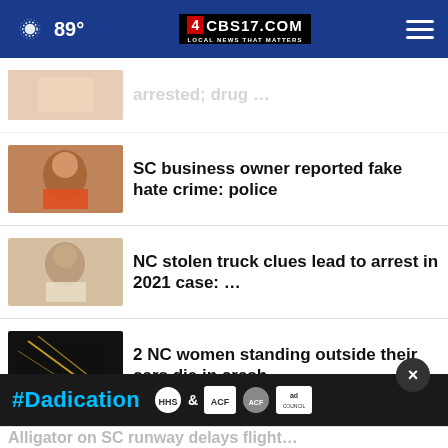[Figure (screenshot): CBS17.com website header with weather (89°), CBS17 logo, and hamburger menu on dark blue background]
SC business owner reported fake hate crime: police
NC stolen truck clues lead to arrest in 2021 case: …
2 NC women standing outside their cars die in crash
Man shot after 'discharging firearms' in NC city
21 cats found at burned SC home:
Alligator on SC runway delays flight…
[Figure (other): #Dadication advertisement bar with HHS ACF and Ad Council logos]